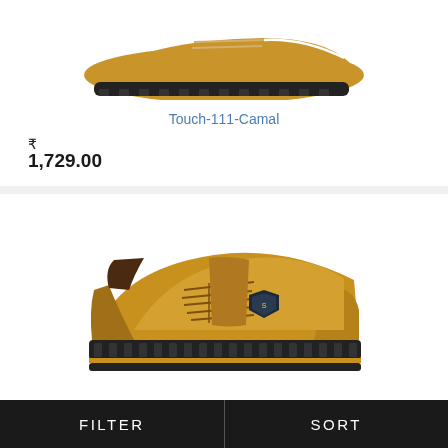[Figure (photo): Partial view of a camel/tan colored sneaker shoe from the side, showing the sole and bottom portion, cropped at the top]
Touch-111-Camal
₹ 1,729.00
[Figure (photo): Full side view of a tan/camel suede sneaker with brown laces, dark sole with ridges, and a shield logo badge on the side]
FILTER
SORT